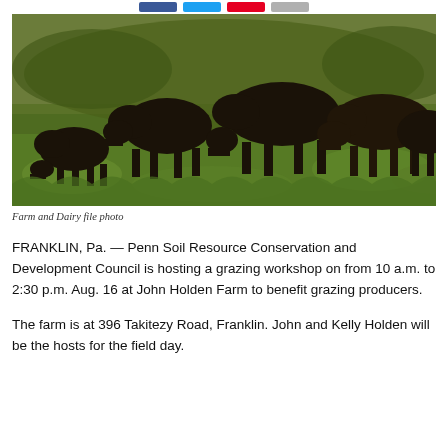[Figure (photo): Several black Angus cattle grazing on green grass in a field]
Farm and Dairy file photo
FRANKLIN, Pa. — Penn Soil Resource Conservation and Development Council is hosting a grazing workshop on from 10 a.m. to 2:30 p.m. Aug. 16 at John Holden Farm to benefit grazing producers.
The farm is at 396 Takitezy Road, Franklin. John and Kelly Holden will be the hosts for the field day.